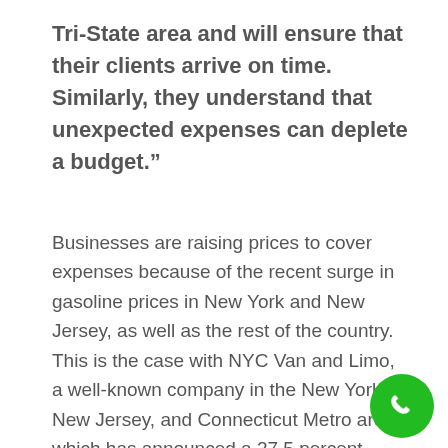Tri-State area and will ensure that their clients arrive on time. Similarly, they understand that unexpected expenses can deplete a budget.”
Businesses are raising prices to cover expenses because of the recent surge in gasoline prices in New York and New Jersey, as well as the rest of the country. This is the case with NYC Van and Limo, a well-known company in the New York, New Jersey, and Connecticut Metro areas, which has announced a 27.5 percent increase in the price of their limo rides and buses.